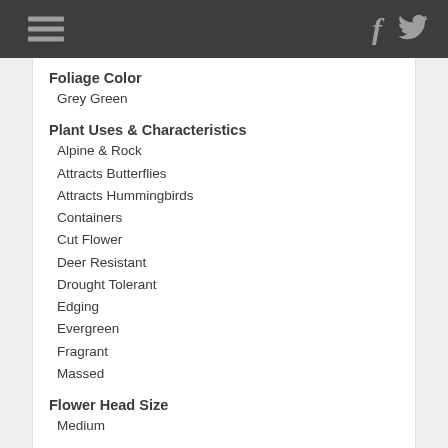Navigation header with hamburger menu and social icons (Facebook, Twitter)
Foliage Color
Grey Green
Plant Uses & Characteristics
Alpine & Rock
Attracts Butterflies
Attracts Hummingbirds
Containers
Cut Flower
Deer Resistant
Drought Tolerant
Edging
Evergreen
Fragrant
Massed
Flower Head Size
Medium
Height